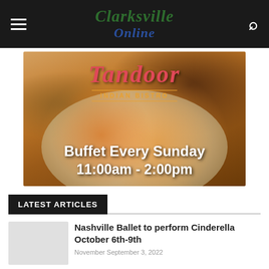Clarksville Online
[Figure (photo): Advertisement for Tandoor Indian Bistro showing a plate of Indian food with curry and rice. Text overlay reads 'Tandoor Indian Bistro - Buffet Every Sunday 11:00am - 2:00pm']
LATEST ARTICLES
Nashville Ballet to perform Cinderella October 6th-9th